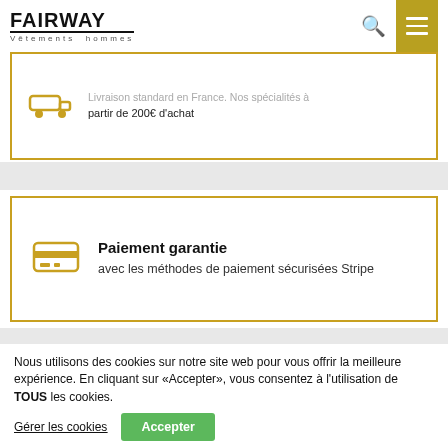[Figure (logo): Fairway Vêtements hommes logo with search icon and hamburger menu button]
Livraison standard en France. Nos spécialités à partir de 200€ d'achat
Paiement garantie
avec les méthodes de paiement sécurisées Stripe
Nous utilisons des cookies sur notre site web pour vous offrir la meilleure expérience. En cliquant sur «Accepter», vous consentez à l'utilisation de TOUS les cookies.
Gérer les cookies
Accepter